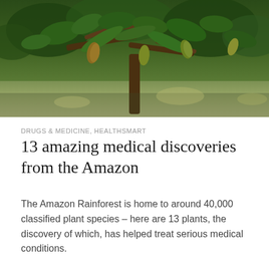[Figure (photo): Photograph of a cacao tree with large green leaves and cacao pods hanging from branches, taken in a rainforest setting]
DRUGS & MEDICINE, HEALTHSMART
13 amazing medical discoveries from the Amazon
The Amazon Rainforest is home to around 40,000 classified plant species – here are 13 plants, the discovery of which, has helped treat serious medical conditions.